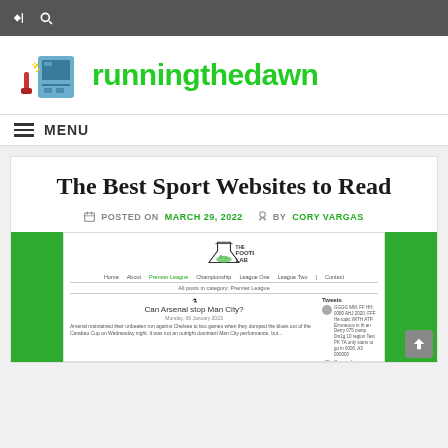runningthedawn
MENU
The Best Sport Websites to Read
POSTED ON MARCH 29, 2022  BY CORY VARGAS
[Figure (screenshot): Screenshot of The Football Lab website showing a Premier League article 'Can Arsenal stop Man City?']